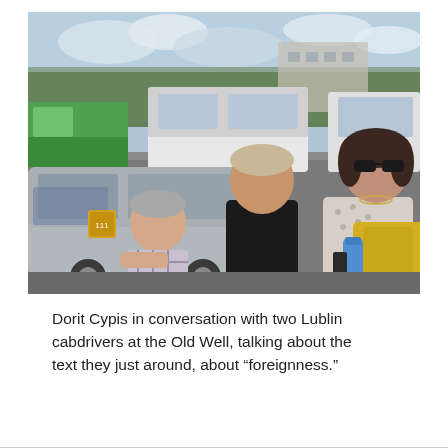[Figure (photo): Dorit Cypis in conversation with two Lublin cabdrivers at an outdoor setting with cars and vans in the background. A man leans out of a car window on the left, a tall man in a black shirt stands in the center, and a woman with sunglasses and a yellow bag stands on the right.]
Dorit Cypis in conversation with two Lublin cabdrivers at the Old Well, talking about the text they just around, about “foreignness.”